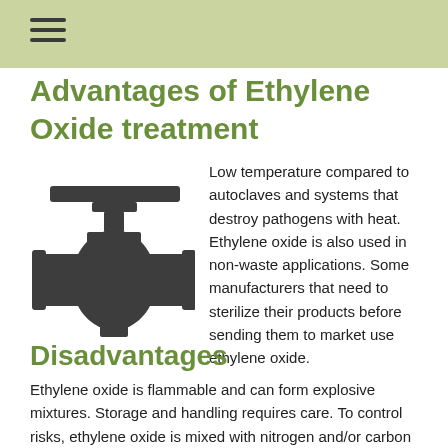Advantages of Ethylene Oxide treatment
[Figure (illustration): Dark gray industrial valve icon/silhouette showing a gate valve with flanges and a handle on top]
Low temperature compared to autoclaves and systems that destroy pathogens with heat. Ethylene oxide is also used in non-waste applications. Some manufacturers that need to sterilize their products before sending them to market use ethylene oxide.
Disadvantages
Ethylene oxide is flammable and can form explosive mixtures. Storage and handling requires care. To control risks, ethylene oxide is mixed with nitrogen and/or carbon dioxide as a carrier gas to dilute the mixture.